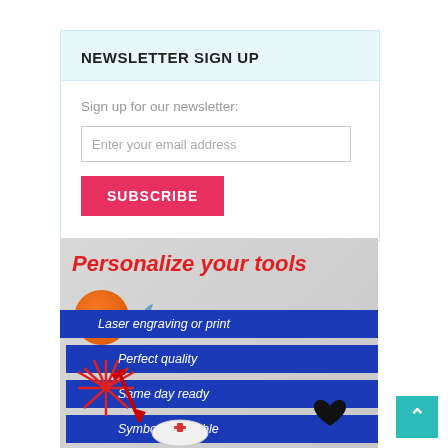NEWSLETTER SIGN UP
Sign up for our newsletter:
Enter your email address
SUBSCRIBE
[Figure (infographic): Promotional banner for tool personalization service showing red italic title 'Personalize your tools', four blue horizontal strips listing 'Laser engraving or print', 'Perfect quality', 'Same day ready', 'Symbols available', an orange circle with T+ symbol, red laser star and pen illustration, and medical symbols.]